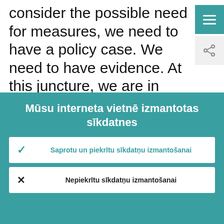consider the possible need for measures, we need to have a policy case. We need to have evidence. At this juncture, we are in situation in which, unlike any crisis I
Mūsu interneta vietnē izmantotas sīkdatnes
Mēs nepārtraukti uzlabojam šo interneta vietni mūsu lietotāju ērtībām. Lai to panāktu, mēs izmantojam sīkdatņu sniegtos anonīmos datus.
Sīkāka informācija par sīkdatņu izmantošanu
Saprotu un piekrītu sīkdatņu izmantošanai
Nepiekrītu sīkdatņu izmantošanai